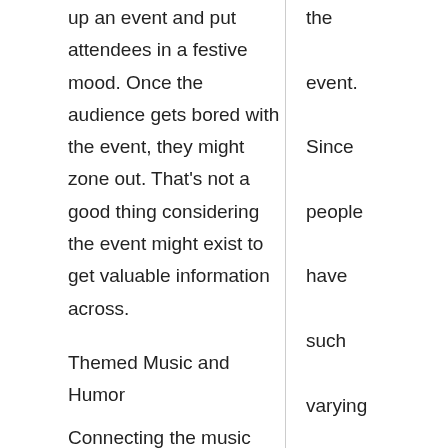up an event and put attendees in a festive mood. Once the audience gets bored with the event, they might zone out. That's not a good thing considering the event might exist to get valuable information across.
Themed Music and Humor
Connecting the music with a particular theme might work best. If the event focuses on a special company anniversary, oldies music will make sense. A comic musician who sings parody versions of old songs could be the perfect fit. When the event highlights current achievements, maybe
the event. Since people have such varying tastes in music, it can be hard to find a playlist for a mixed group